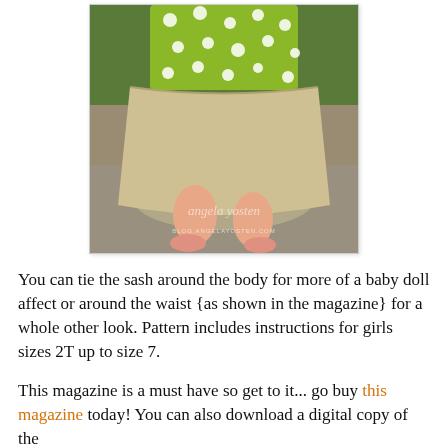[Figure (photo): Photo of a young girl wearing a yellow-green polka dot top and a beige/khaki skirt, standing outdoors. Watermark reads 'angela yosten BLOG.ANGELAYOSTEN.COM']
You can tie the sash around the body for more of a baby doll affect or around the waist {as shown in the magazine} for a whole other look. Pattern includes instructions for girls sizes 2T up to size 7.
This magazine is a must have so get to it... go buy this magazine today! You can also download a digital copy of the